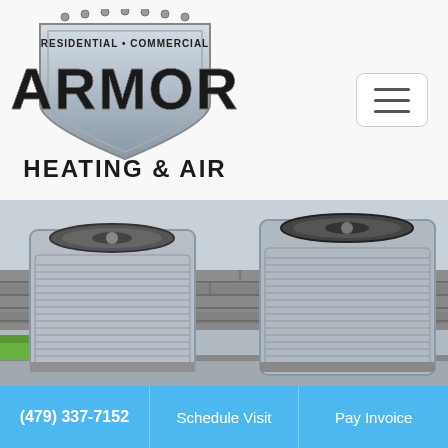[Figure (logo): Armor Heating & Air logo with shield design, text reads RESIDENTIAL • COMMERCIAL ARMOR HEATING & AIR]
[Figure (photo): Two outdoor HVAC air conditioning units placed on concrete pads against a brick wall with green grass, grey sky background]
(479) 337-7152
Schedule Visit
Pay Invoice